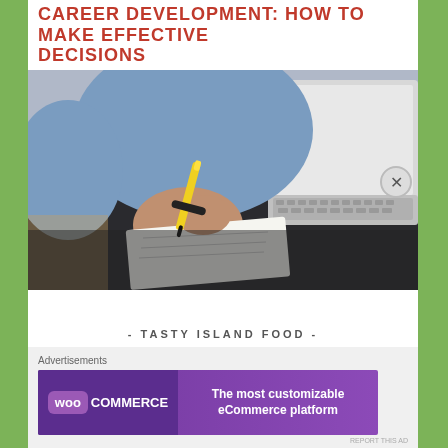CAREER DEVELOPMENT: HOW TO MAKE EFFECTIVE DECISIONS
[Figure (photo): Person in a blue shirt writing on a notepad with a yellow pen at a dark desk, with a laptop visible in the background]
- TASTY ISLAND FOOD -
HOW TO CHOOSE A HEALTHY WEIGHT LOSS PROGRAM
[Figure (other): WooCommerce advertisement banner: 'The most customizable eCommerce platform']